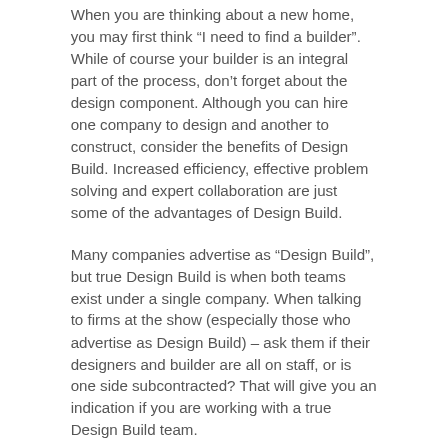When you are thinking about a new home, you may first think “I need to find a builder”. While of course your builder is an integral part of the process, don’t forget about the design component. Although you can hire one company to design and another to construct, consider the benefits of Design Build. Increased efficiency, effective problem solving and expert collaboration are just some of the advantages of Design Build.
Many companies advertise as “Design Build”, but true Design Build is when both teams exist under a single company. When talking to firms at the show (especially those who advertise as Design Build) – ask them if their designers and builder are all on staff, or is one side subcontracted? That will give you an indication if you are working with a true Design Build team.
If you’re exploring your options to build new in Vancouver, come see us at the 2018 BC Home and Garden Show at booth 513. The show is happening February 21st – 25th at BC Place. A full schedule and discounted tickets can be found by clicking the link below: